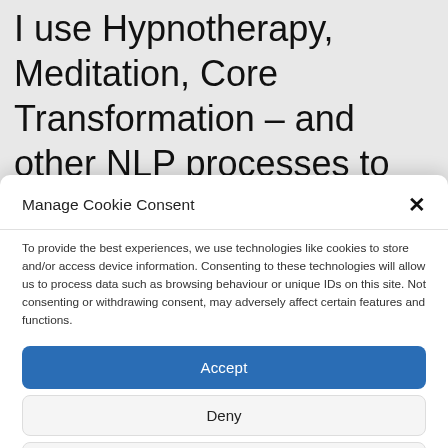I use Hypnotherapy, Meditation, Core Transformation – and other NLP processes to help you get in touch with
Manage Cookie Consent
To provide the best experiences, we use technologies like cookies to store and/or access device information. Consenting to these technologies will allow us to process data such as browsing behaviour or unique IDs on this site. Not consenting or withdrawing consent, may adversely affect certain features and functions.
Accept
Deny
View preferences
Cookie Policy  Privacy Policy